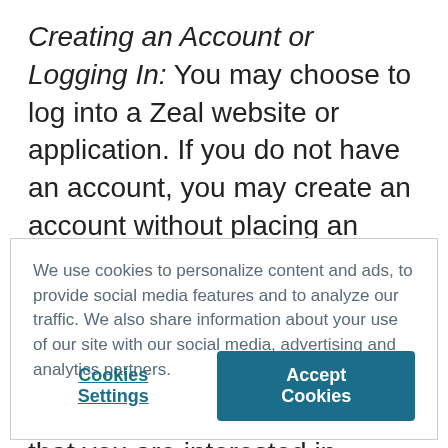Creating an Account or Logging In: You may choose to log into a Zeal website or application. If you do not have an account, you may create an account without placing an order. If you do create an account, you will be given the option to “opt in” to our email system: “Email Opt In.” If you select this option, indicating that you are interested in
We use cookies to personalize content and ads, to provide social media features and to analyze our traffic. We also share information about your use of our site with our social media, advertising and analytics partners.